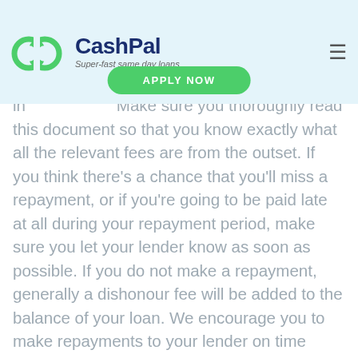CashPal — Super-fast same day loans
if you don't make a repayment, a dishonour fee will be added to the balance of your loan. You should be able to find these fees outlined in Make sure you thoroughly read this document so that you know exactly what all the relevant fees are from the outset. If you think there's a chance that you'll miss a repayment, or if you're going to be paid late at all during your repayment period, make sure you let your lender know as soon as possible. If you do not make a repayment, generally a dishonour fee will be added to the balance of your loan. We encourage you to make repayments to your lender on time before any further actions will be taken. We advise you to thoroughly read the contract you have